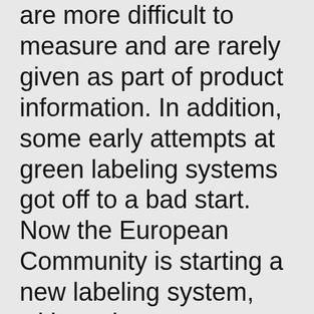are more difficult to measure and are rarely given as part of product information. In addition, some early attempts at green labeling systems got off to a bad start. Now the European Community is starting a new labeling system, with each country developing standards for different materials and appliances. We await the results of this new initiative with interest. However, we need never wait for governments to act before acting ourselves.
The first section starts with a look at the different criteria that we can apply to help us choose between different materials. The materials them selves are then